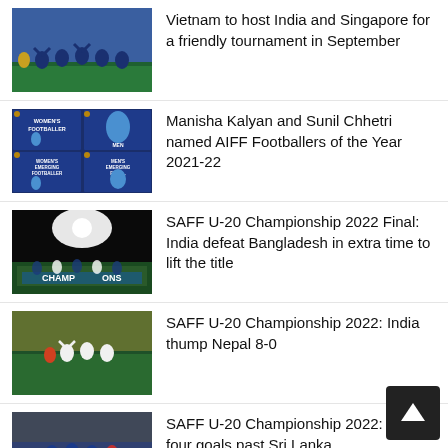[Figure (photo): Football players in blue jerseys celebrating on a field]
Vietnam to host India and Singapore for a friendly tournament in September
[Figure (photo): AIFF awards graphic showing Women's Footballer and Men's Football awards for 2021-22]
Manisha Kalyan and Sunil Chhetri named AIFF Footballers of the Year 2021-22
[Figure (photo): Night match scene with team celebrating championship under floodlights, banner reading CHAMPIONS]
SAFF U-20 Championship 2022 Final: India defeat Bangladesh in extra time to lift the title
[Figure (photo): Football players celebrating a goal, India vs Nepal match]
SAFF U-20 Championship 2022: India thump Nepal 8-0
[Figure (photo): Football match action, India vs Sri Lanka]
SAFF U-20 Championship 2022: India four goals past Sri Lanka